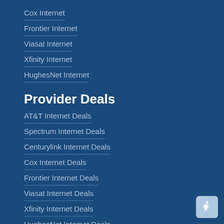Cox Internet
Frontier Internet
Viasat Internet
Xfinity Internet
HughesNet Internet
Provider Deals
AT&T Internet Deals
Spectrum Internet Deals
Centurylink Internet Deals
Cox Internet Deals
Frontier Internet Deals
Viasat Internet Deals
Xfinity Internet Deals
HughesNet Internet Deals